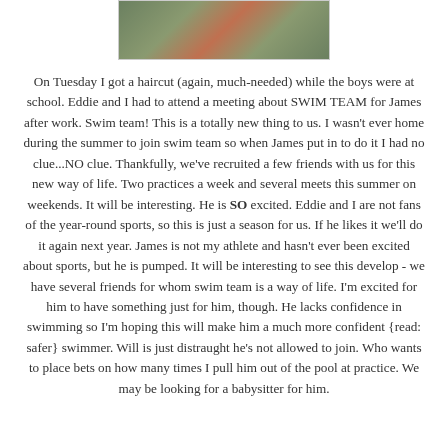[Figure (photo): Partial photo of children wearing colorful shirts, cropped at top of page]
On Tuesday I got a haircut (again, much-needed) while the boys were at school. Eddie and I had to attend a meeting about SWIM TEAM for James after work. Swim team! This is a totally new thing to us. I wasn't ever home during the summer to join swim team so when James put in to do it I had no clue...NO clue. Thankfully, we've recruited a few friends with us for this new way of life. Two practices a week and several meets this summer on weekends. It will be interesting. He is SO excited. Eddie and I are not fans of the year-round sports, so this is just a season for us. If he likes it we'll do it again next year. James is not my athlete and hasn't ever been excited about sports, but he is pumped. It will be interesting to see this develop - we have several friends for whom swim team is a way of life. I'm excited for him to have something just for him, though. He lacks confidence in swimming so I'm hoping this will make him a much more confident {read: safer} swimmer. Will is just distraught he's not allowed to join. Who wants to place bets on how many times I pull him out of the pool at practice. We may be looking for a babysitter for him.